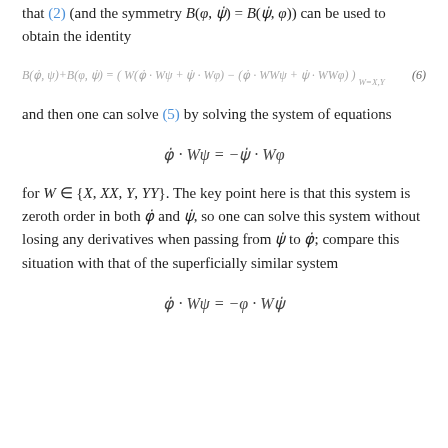that (2) (and the symmetry B(φ, ψ) = B(ψ, φ)) can be used to obtain the identity
and then one can solve (5) by solving the system of equations
for W ∈ {X, XX, Y, YY}. The key point here is that this system is zeroth order in both φ̇ and ψ̇, so one can solve this system without losing any derivatives when passing from ψ̇ to φ̇; compare this situation with that of the superficially similar system